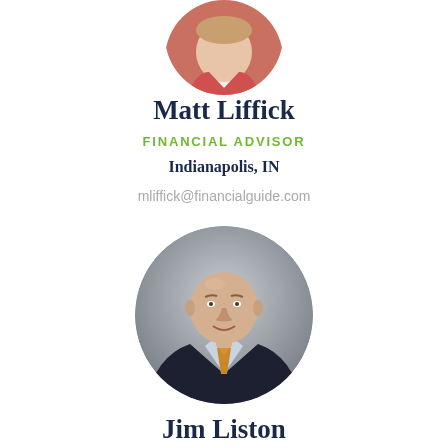[Figure (photo): Circular cropped headshot of Matt Liffick, partially visible, wearing a coral/salmon colored jacket, white shirt, top half only visible]
Matt Liffick
FINANCIAL ADVISOR
Indianapolis, IN
mliffick@financialguide.com
[Figure (photo): Circular cropped headshot of Jim Liston, bald older man in dark suit with orange/gold tie, professional portrait on gray background]
Jim Liston
FINANCIAL SERVICES PROFESSIONAL